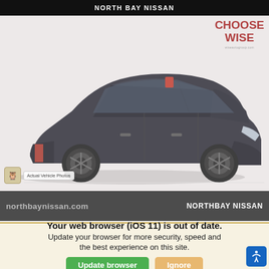NORTH BAY NISSAN
[Figure (photo): A dark-colored Tesla Model 3 sedan photographed from a front three-quarter angle on a light gray/beige background, with a 'Choose Wise' logo in the top right corner and 'Actual Vehicle Photos' badge in the lower left. The bottom banner reads 'northbaynissan.com' and 'NORTHBAY NISSAN'.]
We use cookies to optimize our website and our service.
Cookie Policy – Privacy Statement
Your web browser (iOS 11) is out of date. Update your browser for more security, speed and the best experience on this site.
Update browser
Ignore